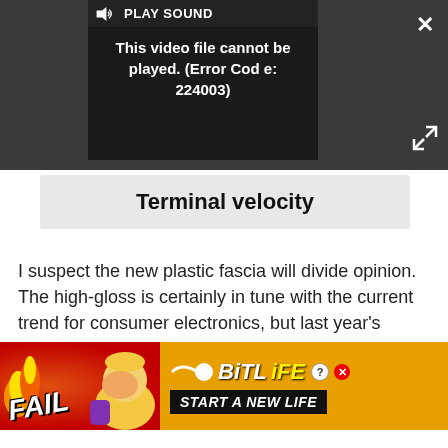[Figure (screenshot): Video player showing error message: 'This video file cannot be played. (Error Code: 224003)' with PLAY SOUND button and close/expand controls on dark background]
Terminal velocity
I suspect the new plastic fascia will divide opinion. The high-gloss is certainly in tune with the current trend for consumer electronics, but last year's brushed silver looked classy, while the plastic looks, well, a bit plasticky. Perhaps Pioneer should factor this into its
[Figure (screenshot): BitLife advertisement banner: FAIL text with flame and cartoon character on red background, BitLife logo and START A NEW LIFE text on orange/black background]